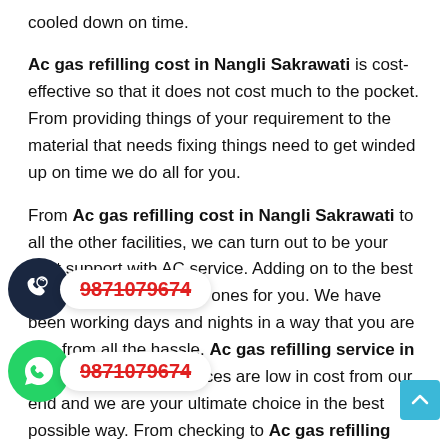cooled down on time.
Ac gas refilling cost in Nangli Sakrawati is cost-effective so that it does not cost much to the pocket. From providing things of your requirement to the material that needs fixing things need to get winded up on time we do all for you.
From Ac gas refilling cost in Nangli Sakrawati to all the other facilities, we can turn out to be your right support with AC service. Adding on to the best support we are the right ones for you. We have been working days and nights in a way that you are free from all the hassle. Ac gas refilling service in Nangli Sakrawati services are low in cost from our end and we are your ultimate choice in the best possible way. From checking to Ac gas refilling service in Nangli Sakrawati we are your right